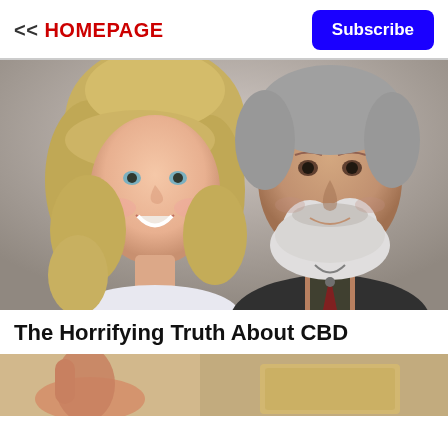<< HOMEPAGE
Subscribe
[Figure (photo): A smiling blonde woman and an older man with a white beard and dark jacket posing together for a photo.]
The Horrifying Truth About CBD
[Figure (photo): Partial bottom image showing hands or objects, cut off at page bottom.]